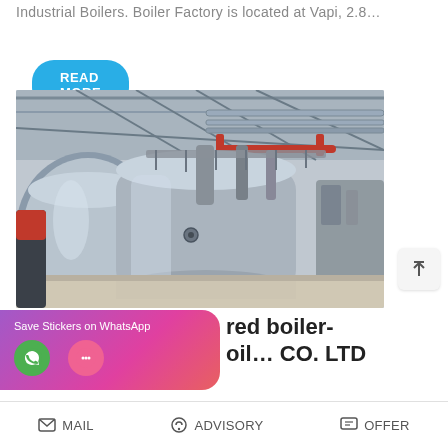Industrial Boilers. Boiler Factory is located at Vapi, 2.8…
READ MORE
[Figure (photo): Industrial boiler facility interior showing large silver cylindrical boiler vessels with red and grey piping on overhead gantry, metal roof structure visible, factory floor setting.]
Save Stickers on WhatsApp
red boiler-
oil… CO. LTD
MAIL   ADVISORY   OFFER